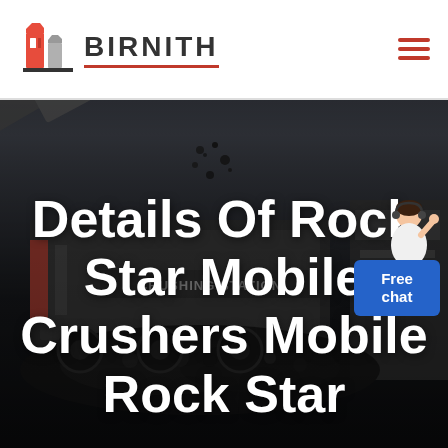[Figure (logo): Birnith company logo with orange/red building icon and brand name BIRNITH with red underline, plus hamburger menu icon in red on the right]
[Figure (photo): Industrial mobile crushing station machinery photographed in dark/overcast conditions, showing a large conveyor and rock crushing equipment with text 'CRUSHING STATION' visible on the machine]
Details Of Rock Star Mobile Crushers Mobile Rock Star